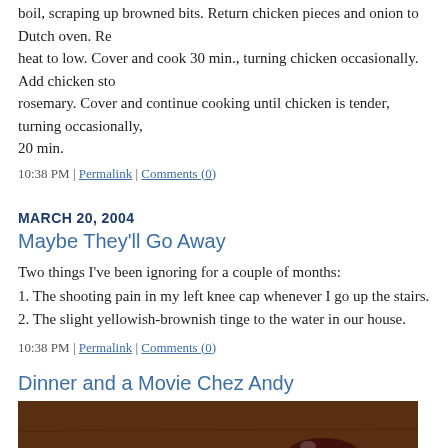boil, scraping up browned bits. Return chicken pieces and onion to Dutch oven. Re heat to low. Cover and cook 30 min., turning chicken occasionally. Add chicken sto rosemary. Cover and continue cooking until chicken is tender, turning occasionally, 20 min.
08:28 AM | Permalink | Comments (0)
MARCH 20, 2004
Maybe They'll Go Away
Two things I've been ignoring for a couple of months:
1. The shooting pain in my left knee cap whenever I go up the stairs.
2. The slight yellowish-brownish tinge to the water in our house.
10:38 PM | Permalink | Comments (0)
Dinner and a Movie Chez Andy
[Figure (photo): Dinner table photo showing a white plate with food and a glass of red wine on a dark wooden table]